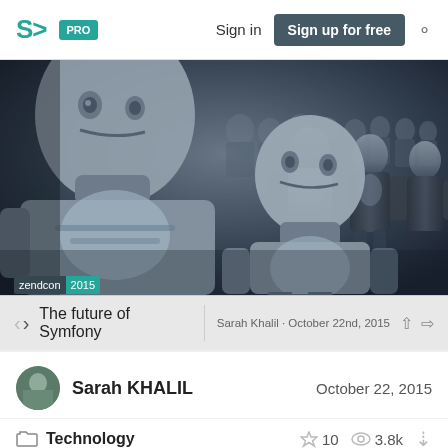SJ PRO  Sign in  Sign up for free
[Figure (screenshot): Screenshot of SlideShare-style website showing a presentation titled 'The future of Symfony' by Sarah Khalil, October 22nd, 2015, with a robot crowd image thumbnail from the movie iRobot, a zendcon 2015 badge, and navigation controls]
Sarah KHALIL
October 22, 2015
Technology
10  3.8k